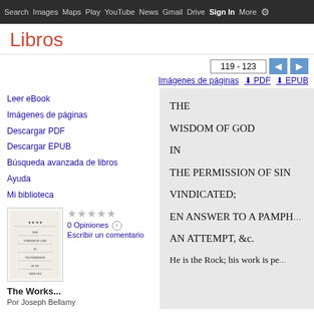Search  Images  Maps  Play  YouTube  News  Gmail  Drive  More  Sign in
Libros
119 - 123
Imágenes de páginas   ⬇ PDF   ⬇ EPUB
Leer eBook
Imágenes de páginas
Descargar PDF
Descargar EPUB
Búsqueda avanzada de libros
Ayuda
Mi biblioteca
[Figure (illustration): Book cover thumbnail for The Works... by Joseph Bellamy]
0 Opiniones   Escribir un comentario
The Works...
Por Joseph Bellamy
THE

WISDOM OF GOD

IN

THE PERMISSION OF SIN

VINDICATED;

EN ANSWER TO A PAMPH...

AN ATTEMPT, &c.

He is the Rock; his work is pe...